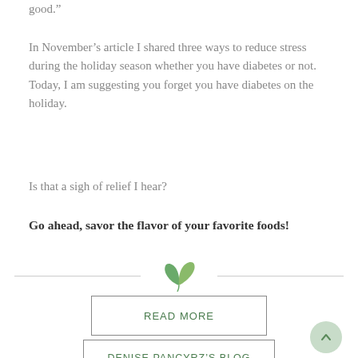good.”
In November’s article I shared three ways to reduce stress during the holiday season whether you have diabetes or not. Today, I am suggesting you forget you have diabetes on the holiday.
Is that a sigh of relief I hear?
Go ahead, savor the flavor of your favorite foods!
[Figure (illustration): Green leaf/sprout decorative divider icon between two horizontal lines]
READ MORE
DENISE PANCYRZ’S BLOG